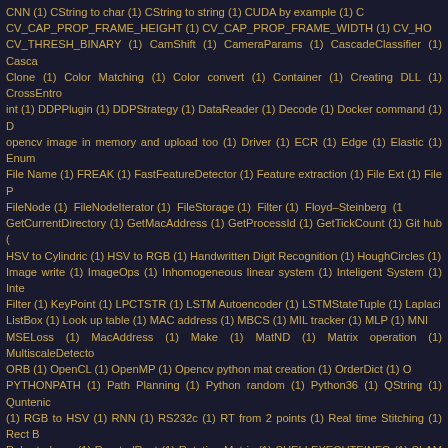CNN (1) CString to char (1) CString to string (1) CUDA by example (1) CV_CAP_PROP_FRAME_HEIGHT (1) CV_CAP_PROP_FRAME_WIDTH (1) CV_HO CV_THRESH_BINARY (1) CamShift (1) CameraParams (1) CascadeClassifier (1) Casca Clone (1) Color Matching (1) Color convert (1) Container (1) Creating DLL (1) CrossEntro int (1) DDPPlugin (1) DDPStrategy (1) DataReader (1) Decode (1) Docker command (1) D opencv image in memory and upload too (1) Driver (1) ECR (1) Edge (1) Elastic (1) Enum File Name (1) FREAK (1) FastFeatureDetector (1) Feature extraction (1) File Ext (1) File P FileNode (1) FileNodeIterator (1) FileStorage (1) Filter (1) Floyd–Steinberg (1 GetCurrentDirectory (1) GetMacAddress (1) GetProcessId (1) GetTickCount (1) Git hub HSV to Cylindric (1) HSV to RGB (1) Handwritten Digit Recognition (1) HoughCircles (1) Image write (1) ImageOps (1) Inhomogeneous linear system (1) Inteligent System (1) Inte Filter (1) KeyPoint (1) LPCTSTR (1) LSTM Autoencoder (1) LSTMStateTuple (1) Laplaci ListBox (1) Look up table (1) MAC address (1) MBCS (1) MIL tracker (1) MLP (1) MNI MSELoss (1) MacAddress (1) Make (1) MatND (1) Matrix operation (1) MultiscaleDetector ORB (1) OpenCL (1) OpenMP (1) Opencv python mat creation (1) OrderDict (1) O PYTHONPATH (1) Path Planning (1) Python random (1) Python36 (1) QString (1) Quntenic (1) RGB to HSV (1) RNN (1) RS232c (1) RT from 2 points (1) Real time Stitching (1) Rect B Roberta-base (1) RoratedRect (1) Rotation Matrix (1) SHELLEXECUTEINFO (1) SLAM ( from Shading (1) ShellExecuteEx (1) Stabilizing (1) TCHAR (1) TCHAR to string (1) Tensorboard (1) Tensorflow object detection (1) TerminateProcess (1) Thread ThreadPoolExecutor (1) TimeDistributed (1) TinyXML (1) Tracker (1) Trash dumping detec (1) VO_MSE_FUNC_THROUGH_POINTERS (1) VS 2013 (1) Vision Odometry (1) WYS (1) WideCharToMultiByte (1) WinCE (1) Window (1) WtoC (1) YCbCr (1) Yard Trailer (1) cv2 (1) YouTube streaming (1) _CRT_SECURE_NO_WARNINGS (1) _Py_ZeroStruct ( absdiff (1) access pixel (1) addWeighted (1) adpativeThreshold (1) ai (1) ai model (1) ana